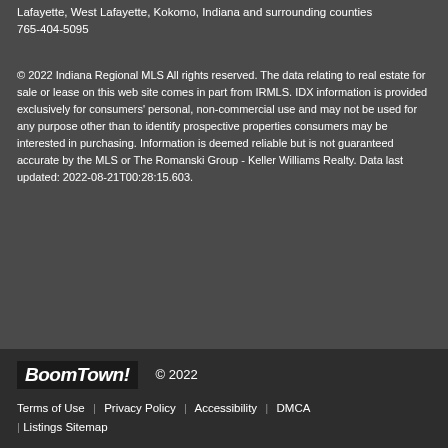Lafayette, West Lafayette, Kokomo, Indiana and surrounding counties
765-404-5095
© 2022 Indiana Regional MLS All rights reserved. The data relating to real estate for sale or lease on this web site comes in part from IRMLS. IDX information is provided exclusively for consumers' personal, non-commercial use and may not be used for any purpose other than to identify prospective properties consumers may be interested in purchasing. Information is deemed reliable but is not guaranteed accurate by the MLS or The Romanski Group - Keller Williams Realty. Data last updated: 2022-08-21T00:28:15.603.
BoomTown! © 2022
Terms of Use | Privacy Policy | Accessibility | DMCA | Listings Sitemap